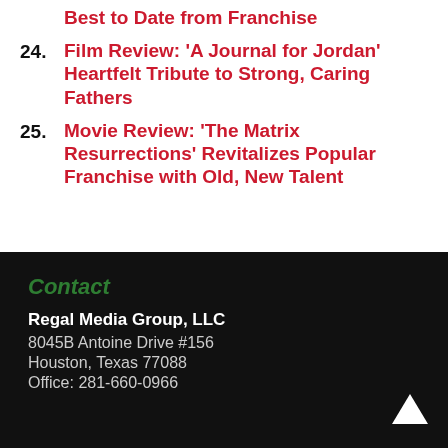Best to Date from Franchise
24. Film Review: ‘A Journal for Jordan’ Heartfelt Tribute to Strong, Caring Fathers
25. Movie Review: ‘The Matrix Resurrections’ Revitalizes Popular Franchise with Old, New Talent
Contact
Regal Media Group, LLC
8045B Antoine Drive #156
Houston, Texas 77088
Office: 281-660-0966